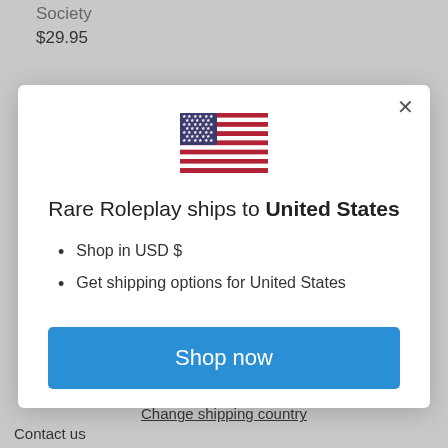Society
$29.95
[Figure (illustration): US flag emoji/icon in the modal dialog]
Rare Roleplay ships to United States
Shop in USD $
Get shipping options for United States
Shop now
Change shipping country
Contact us